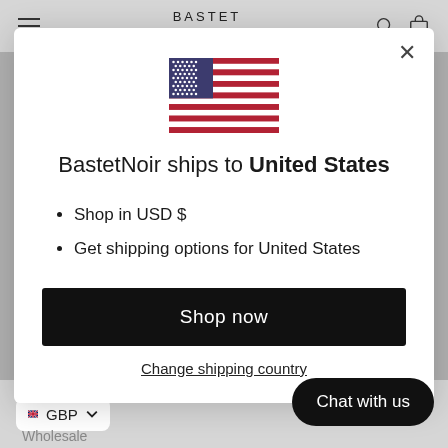BASTET NOIR
BastetNoir ships to United States
Shop in USD $
Get shipping options for United States
Shop now
Change shipping country
GBP
Wholesale
Chat with us